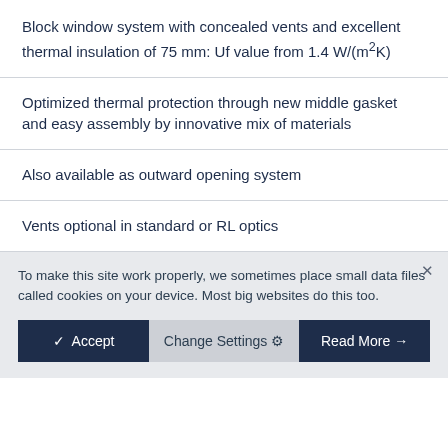Block window system with concealed vents and excellent thermal insulation of 75 mm: Uf value from 1.4 W/(m²K)
Optimized thermal protection through new middle gasket and easy assembly by innovative mix of materials
Also available as outward opening system
Vents optional in standard or RL optics
To make this site work properly, we sometimes place small data files called cookies on your device. Most big websites do this too.